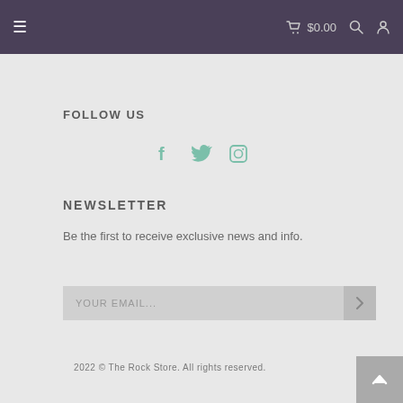≡   🛒 $0.00   🔍   👤
FOLLOW US
[Figure (illustration): Three social media icons: Facebook (f), Twitter (bird), and Instagram (camera) in teal/green color]
NEWSLETTER
Be the first to receive exclusive news and info.
YOUR EMAIL...
2022 © The Rock Store. All rights reserved.